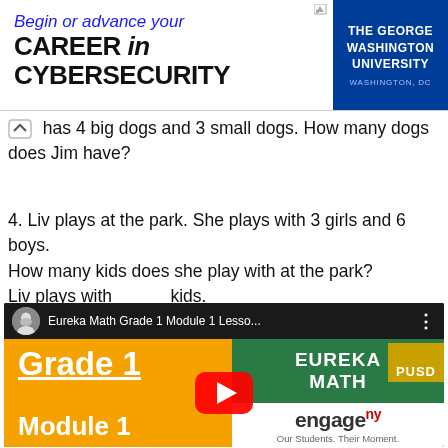[Figure (screenshot): Advertisement banner for The George Washington University cybersecurity program]
has 4 big dogs and 3 small dogs. How many dogs does Jim have?
4. Liv plays at the park. She plays with 3 girls and 6 boys. How many kids does she play with at the park? Liv plays with ________ kids.
[Figure (screenshot): YouTube video thumbnail for Eureka Math Grade 1 Module 1 Lesson showing Grade 1 in orange panel, Eureka Math on green panel, and EngageNY logo]